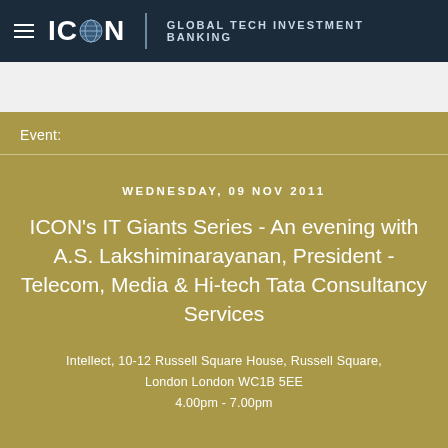ICON GLOBAL TECH INVESTMENT BANKING
Event:
WEDNESDAY, 09 NOV 2011
ICON's IT Giants Series - An evening with A.S. Lakshiminarayanan, President - Telecom, Media & Hi-tech Tata Consultancy Services
Intellect, 10-12 Russell Square House, Russell Square, London London WC1B 5EE
4.00pm - 7.00pm